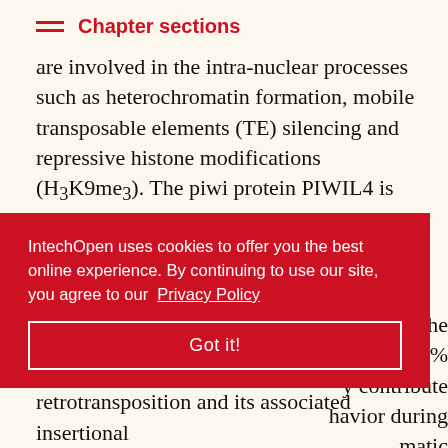Chapter sections
are involved in the intra-nuclear processes such as heterochromatin formation, mobile transposable elements (TE) silencing and repressive histone modifications (H3K9me3). The piwi protein PIWIL4 is overexpressed in a large proportion of AML leukemia patients. This knockdown results in gross changes in histone methylation and slowed leukemic growth. It suggests a tightly regulated piwi pathway is essential for normal hematopoiesis [66, 91].
IntechOpen uses cookies to offer you the best online experience. By continuing to use our site, you agree to our Privacy Policy
re under the approx. 44% y contribute havior during matic retrotransposition and its associated insertional